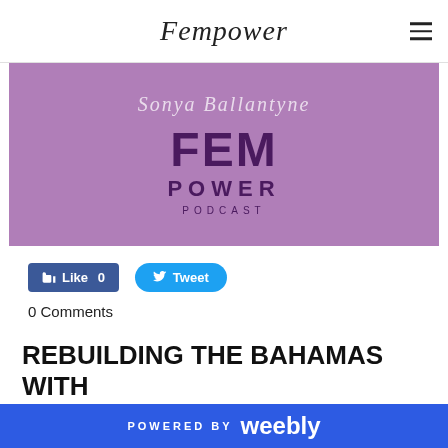Fempower
[Figure (logo): Fempower Podcast logo on purple background with handwritten 'Sonya Ballantyne' and bold text 'FEM POWER PODCAST']
Like 0   Tweet
0 Comments
REBUILDING THE BAHAMAS WITH DEBORAH DEAL
POWERED BY weebly